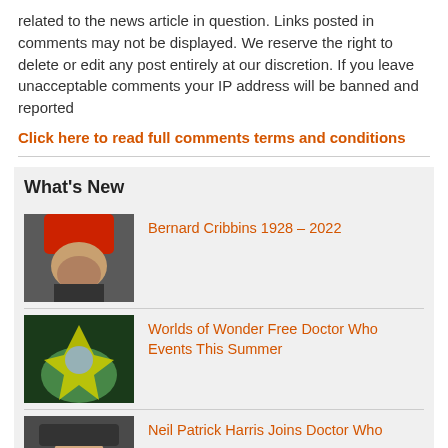related to the news article in question. Links posted in comments may not be displayed. We reserve the right to delete or edit any post entirely at our discretion. If you leave unacceptable comments your IP address will be banned and reported
Click here to read full comments terms and conditions
What's New
Bernard Cribbins 1928 – 2022
Worlds of Wonder Free Doctor Who Events This Summer
Neil Patrick Harris Joins Doctor Who